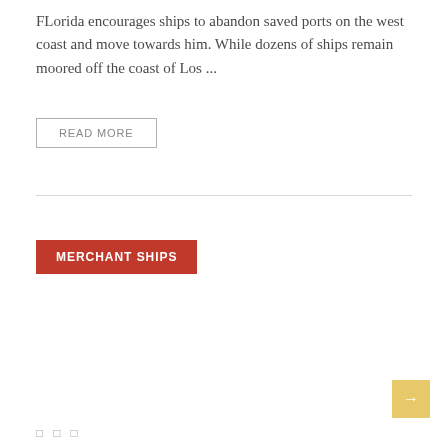FLorida encourages ships to abandon saved ports on the west coast and move towards him. While dozens of ships remain moored off the coast of Los ...
READ MORE
MERCHANT SHIPS